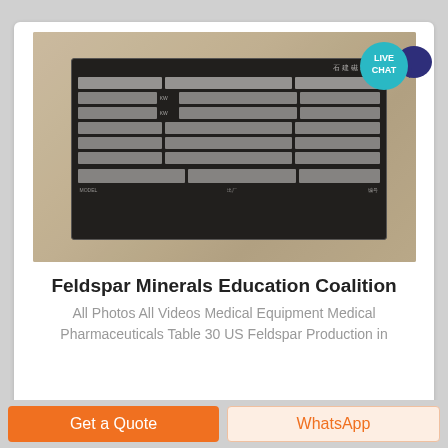[Figure (photo): Photo of a metal equipment nameplate with Chinese text on a worn surface, showing a black data plate with multiple rows and columns of information including MODEL, power, and other technical specifications.]
Feldspar Minerals Education Coalition
All Photos All Videos Medical Equipment Medical Pharmaceuticals Table 30 US Feldspar Production in